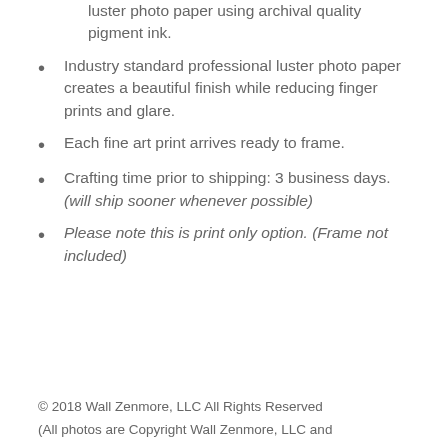luster photo paper using archival quality pigment ink.
Industry standard professional luster photo paper creates a beautiful finish while reducing finger prints and glare.
Each fine art print arrives ready to frame.
Crafting time prior to shipping: 3 business days. (will ship sooner whenever possible)
Please note this is print only option. (Frame not included)
© 2018 Wall Zenmore, LLC All Rights Reserved
(All photos are Copyright Wall Zenmore, LLC and